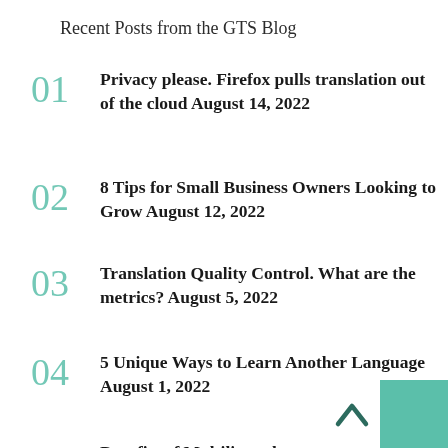Recent Posts from the GTS Blog
Privacy please. Firefox pulls translation out of the cloud August 14, 2022
8 Tips for Small Business Owners Looking to Grow August 12, 2022
Translation Quality Control. What are the metrics? August 5, 2022
5 Unique Ways to Learn Another Language August 1, 2022
Benefits of Multilingual eComm